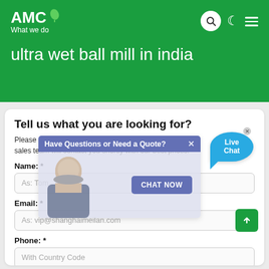AMC What we do
ultra wet ball mill in india
Tell us what you are looking for?
Please complete and submit the following form and our sales team will contact you shortly with our best prices.
Have Questions or Need a Quote?
CHAT NOW
Live Chat
Name: *
As: Tom
Email: *
As: vip@shanghaimeilan.com
Phone: *
With Country Code